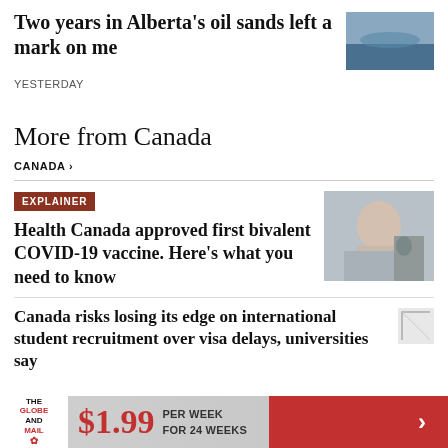Two years in Alberta's oil sands left a mark on me
YESTERDAY
[Figure (photo): Outdoor water/landscape photo thumbnail]
More from Canada
CANADA ›
EXPLAINER
Health Canada approved first bivalent COVID-19 vaccine. Here's what you need to know
[Figure (photo): Woman receiving vaccine injection, wearing colorful face mask]
Canada risks losing its edge on international student recruitment over visa delays, universities say
[Figure (photo): Small broken image placeholder thumbnail]
$1.99 PER WEEK FOR 24 WEEKS